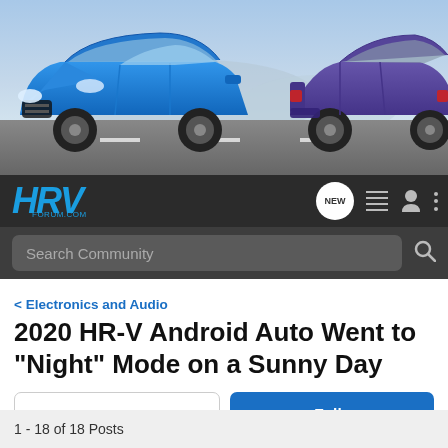[Figure (screenshot): Honda HR-V forum website banner showing two Honda HR-V vehicles — one blue facing left and one dark/purple facing right — against a blue gradient background road scene]
[Figure (screenshot): HRV Forum.com navigation bar with logo, NEW badge, list icon, user icon, and three-dot menu on dark background]
[Figure (screenshot): Search Community search bar on dark background with magnifying glass icon]
Electronics and Audio
2020 HR-V Android Auto Went to "Night" Mode on a Sunny Day
→ Jump to Latest
+ Follow
1 - 18 of 18 Posts